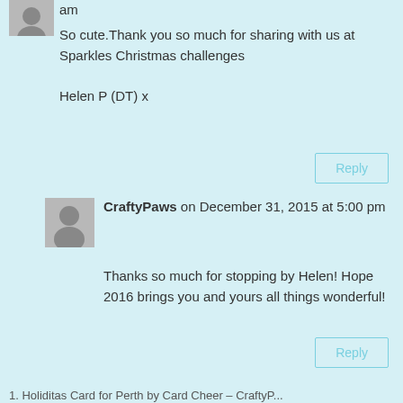[Figure (illustration): Partial avatar icon at top left, grey silhouette]
am
So cute.Thank you so much for sharing with us at Sparkles Christmas challenges

Helen P (DT) x
Reply
[Figure (illustration): Grey avatar silhouette icon]
CraftyPaws on December 31, 2015 at 5:00 pm
Thanks so much for stopping by Helen! Hope 2016 brings you and yours all things wonderful!
Reply
Trackbacks/Pingbacks
1. Holiditas Card for Perth by Card Cheer – CraftyPaws